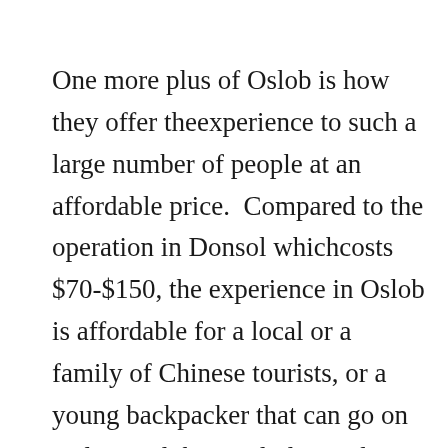One more plus of Oslob is how they offer theexperience to such a large number of people at an affordable price.  Compared to the operation in Donsol whichcosts $70-$150, the experience in Oslob is affordable for a local or a family of Chinese tourists, or a young backpacker that can go on and spread the newly learned ideas later. Donsol is sustainable and low impact, but Oslob is remarkably efficient and allows,